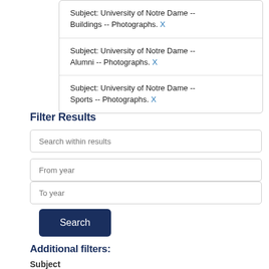Subject: University of Notre Dame -- Buildings -- Photographs. X
Subject: University of Notre Dame -- Alumni -- Photographs. X
Subject: University of Notre Dame -- Sports -- Photographs. X
Filter Results
Search within results
From year
To year
Search
Additional filters:
Subject